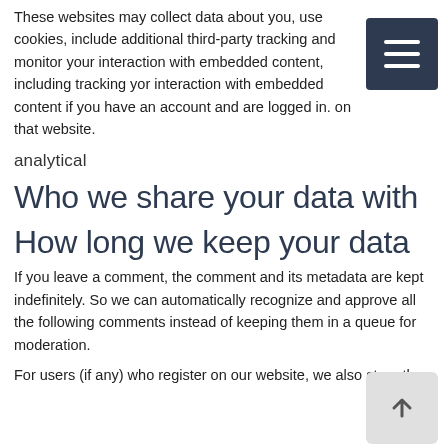These websites may collect data about you, use cookies, include additional third-party tracking and monitor your interaction with embedded content, including tracking your interaction with embedded content if you have an account and are logged in. on that website.
analytical
Who we share your data with
How long we keep your data
If you leave a comment, the comment and its metadata are kept indefinitely. So we can automatically recognize and approve all the following comments instead of keeping them in a queue for moderation.
For users (if any) who register on our website, we also store the